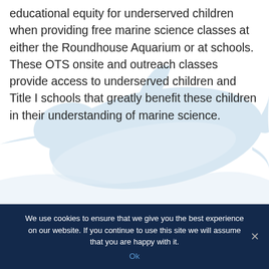educational equity for underserved children when providing free marine science classes at either the Roundhouse Aquarium or at schools. These OTS onsite and outreach classes provide access to underserved children and Title I schools that greatly benefit these children in their understanding of marine science.
[Figure (illustration): Light blue dolphin watermark/background illustration visible behind the text and lower content area]
We use cookies to ensure that we give you the best experience on our website. If you continue to use this site we will assume that you are happy with it.
Ok